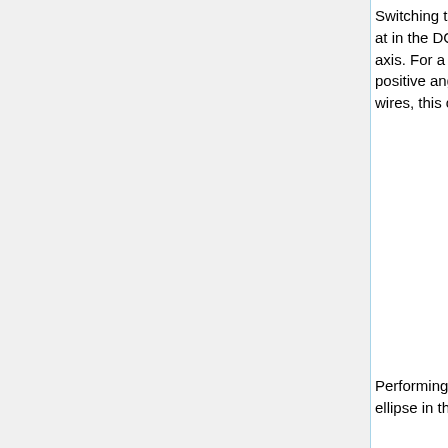Switching to the frame of the wires, the ellipse is still centered at in the DC sector, with the semi-major axis lying on the x' axis. For a rotation in the y-x plane, this corresponds to a positive angle , with the rotation matrix . In the frame of the wires, this center point falls at
Performing an active rotation, we will rotate the equation for an ellipse in the frame of the DC to the frame of the wires